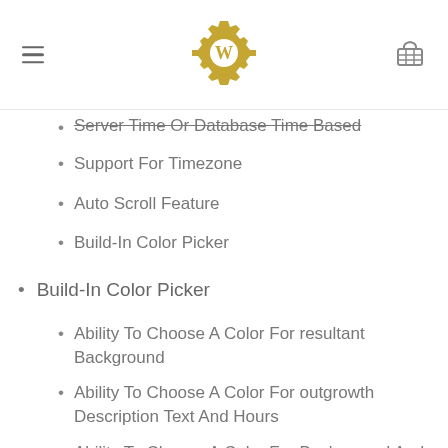WordPress plugin page header with hamburger menu, WordPress gear logo, and cart icon
Server Time Or Database Time Based
Support For Timezone
Auto Scroll Feature
Build-In Color Picker
Build-In Color Picker
Ability To Choose A Color For resultant Background
Ability To Choose A Color For outgrowth Description Text And Hours
Ability To Choose A Color For Background And Text Hovers